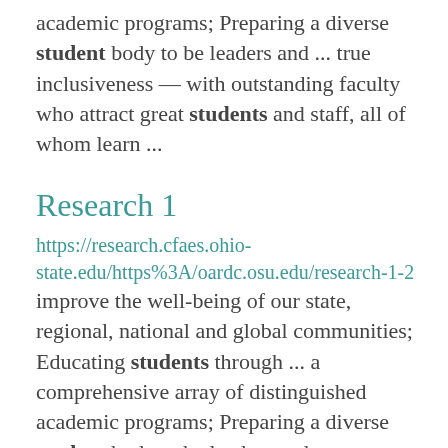academic programs; Preparing a diverse student body to be leaders and ... true inclusiveness — with outstanding faculty who attract great students and staff, all of whom learn ...
Research 1
https://research.cfaes.ohio-state.edu/https%3A/oardc.osu.edu/research-1-2
improve the well-being of our state, regional, national and global communities; Educating students through ... a comprehensive array of distinguished academic programs; Preparing a diverse student body to be leaders and ... true